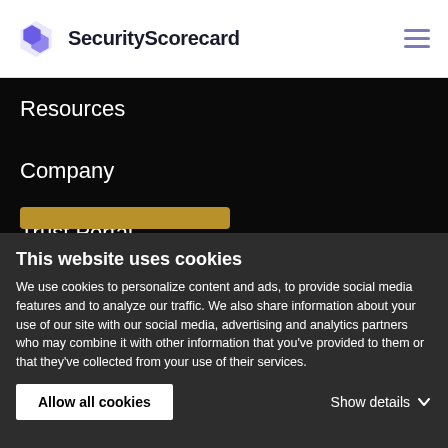SecurityScorecard
Resources
Company
Trust Portal
Security Ratings
Login
Blog
Contact
This website uses cookies
We use cookies to personalize content and ads, to provide social media features and to analyze our traffic. We also share information about your use of our site with our social media, advertising and analytics partners who may combine it with other information that you've provided to them or that they've collected from your use of their services.
Allow all cookies
Show details